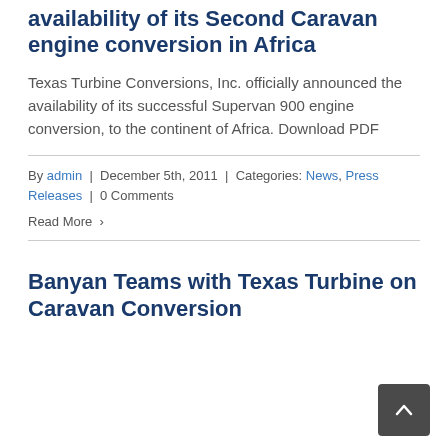availability of its Second Caravan engine conversion in Africa
Texas Turbine Conversions, Inc. officially announced the availability of its successful Supervan 900 engine conversion, to the continent of Africa. Download PDF
By admin | December 5th, 2011 | Categories: News, Press Releases | 0 Comments
Read More >
Banyan Teams with Texas Turbine on Caravan Conversion